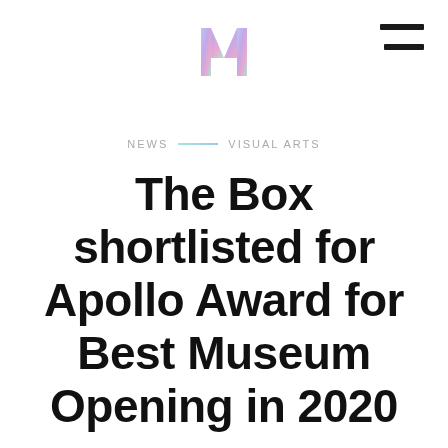[Figure (logo): Stylized letter M logo with pastel gradient (pink, purple, blue, teal)]
[Figure (other): Hamburger menu icon — three horizontal black lines]
NEWS  VISUAL ARTS
The Box shortlisted for Apollo Award for Best Museum Opening in 2020